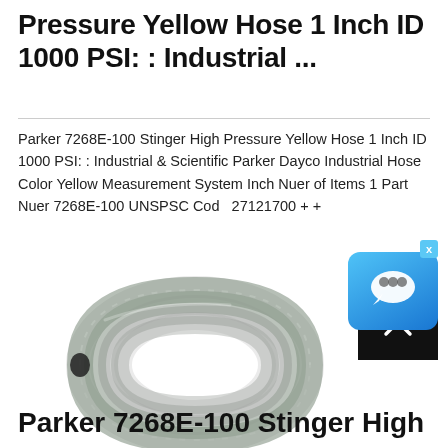Pressure Yellow Hose 1 Inch ID 1000 PSI: : Industrial ...
Parker 7268E-100 Stinger High Pressure Yellow Hose 1 Inch ID 1000 PSI: : Industrial & Scientific Parker Dayco Industrial Hose Color Yellow Measurement System Inch Nuer of Items 1 Part Nuer 7268E-100 UNSPSC Code 27121700 + +
[Figure (photo): Coiled industrial hose, silver/grey braided wire reinforced flexible hose coiled in a circular shape]
Parker 7268E-100 Stinger High